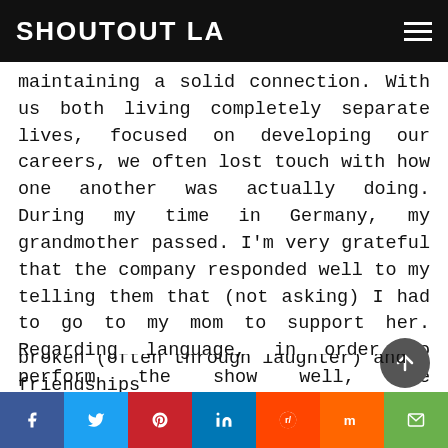SHOUTOUT LA
maintaining a solid connection. With us both living completely separate lives, focused on developing our careers, we often lost touch with how one another was actually doing. During my time in Germany, my grandmother passed. I'm very grateful that the company responded well to my telling them that (not asking) I had to go to my mom to support her. Regarding language, in order to perform the show well, the international cast worked with a phonetics coach. I really enjoyed working with people from Brazil, France, Japan, South Africa, Jamaica, Canada and Germany. Language barriers were broken (often through laughter) and friendships were made. Eventually, though, balancing...